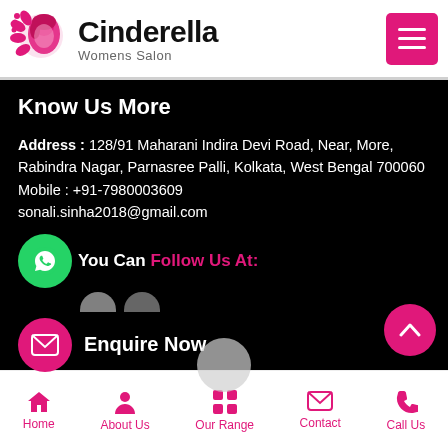[Figure (logo): Cinderella Womens Salon logo with pink flower and face illustration, brand name in bold black, subtitle in grey]
Know Us More
Address : 128/91 Maharani Indira Devi Road, Near, More, Rabindra Nagar, Parnasree Palli, Kolkata, West Bengal 700060
Mobile : +91-7980003609
sonali.sinha2018@gmail.com
You Can Follow Us At:
Enquire Now
Home | About Us | Our Range | Contact | Call Us